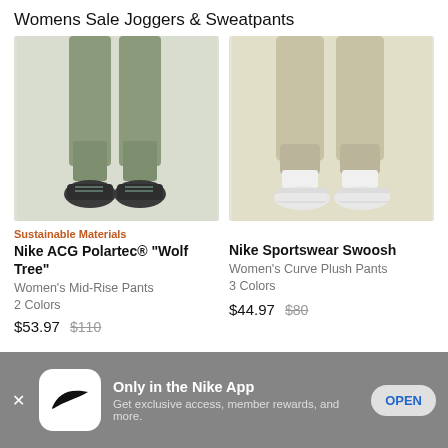Womens Sale Joggers & Sweatpants
[Figure (photo): Lower body of woman wearing olive/sage green jogger pants with black hiking boots]
[Figure (photo): Lower body of woman wearing beige/khaki jogger pants with white sneakers]
Sustainable Materials
Nike ACG Polartec® "Wolf Tree"
Women's Mid-Rise Pants
2 Colors
$53.97 $110
Nike Sportswear Swoosh
Women's Curve Plush Pants
3 Colors
$44.97 $80
Only in the Nike App
Get exclusive access, member rewards, and more.